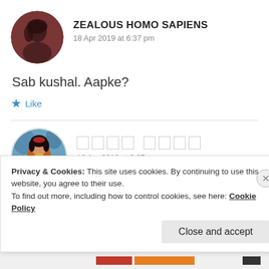[Figure (photo): Circular avatar of a person with dark hair on brownish-red background]
ZEALOUS HOMO SAPIENS
18 Apr 2019 at 6:37 pm
Sab kushal. Aapke?
Like
[Figure (photo): Circular avatar of a woman in traditional Indian bridal attire]
□□□□ □□□□
18 Apr 2019 at 6:37 pm
Privacy & Cookies: This site uses cookies. By continuing to use this website, you agree to their use.
To find out more, including how to control cookies, see here: Cookie Policy
Close and accept